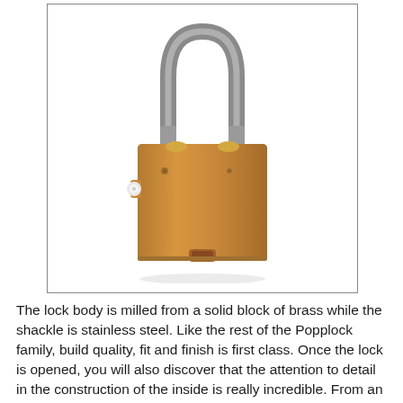[Figure (photo): A padlock with a golden/brass rectangular body milled from solid brass, with a stainless steel shackle (curved bar at top). The body has two small screws/rivets visible on the front face, a white circular element on the left side, and a small rectangular slot/keyway at the bottom center. The shackle inserts into the top of the body with a brass-colored collar. The lock is photographed against a white background.]
The lock body is milled from a solid block of brass while the shackle is stainless steel. Like the rest of the Popplock family, build quality, fit and finish is first class. Once the lock is opened, you will also discover that the attention to detail in the construction of the inside is really incredible. From an